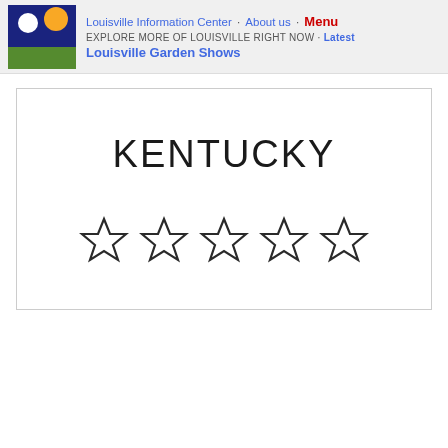Louisville Information Center · About us · Menu | EXPLORE MORE OF LOUISVILLE RIGHT NOW · Latest | Louisville Garden Shows
KENTUCKY
[Figure (other): Five empty (unfilled) star rating symbols arranged in a row, indicating 0 out of 5 stars rating.]